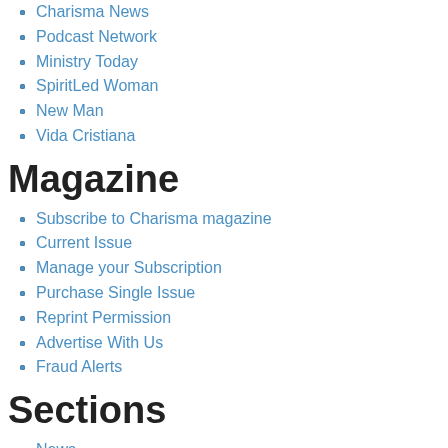Charisma News
Podcast Network
Ministry Today
SpiritLed Woman
New Man
Vida Cristiana
Magazine
Subscribe to Charisma magazine
Current Issue
Manage your Subscription
Purchase Single Issue
Reprint Permission
Advertise With Us
Fraud Alerts
Sections
News
Spirit
Life
Entertainment